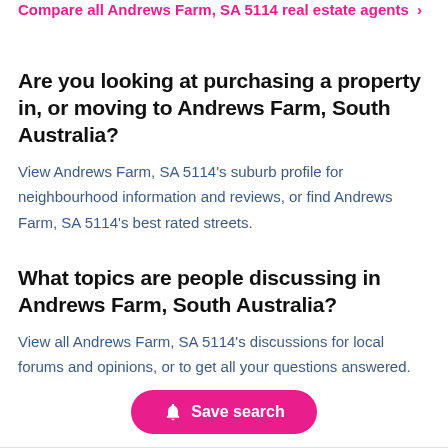Compare all Andrews Farm, SA 5114 real estate agents >
Are you looking at purchasing a property in, or moving to Andrews Farm, South Australia?
View Andrews Farm, SA 5114's suburb profile for neighbourhood information and reviews, or find Andrews Farm, SA 5114's best rated streets.
What topics are people discussing in Andrews Farm, South Australia?
View all Andrews Farm, SA 5114's discussions for local forums and opinions, or to get all your questions answered.
Save search